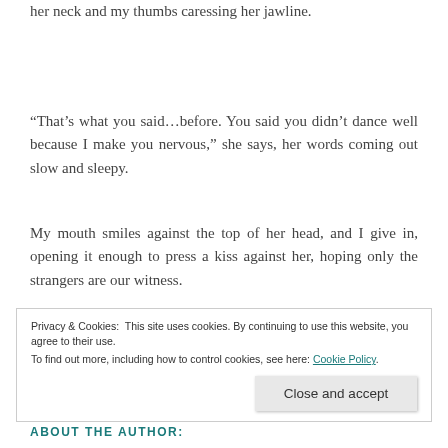her neck and my thumbs caressing her jawline.
“That’s what you said…before. You said you didn’t dance well  because I make you nervous,” she says, her words coming out slow and sleepy.
My mouth smiles against the top of her head, and I give in, opening it enough to press a kiss against her, hoping only the strangers are our witness.
Privacy & Cookies: This site uses cookies. By continuing to use this website, you agree to their use.
To find out more, including how to control cookies, see here: Cookie Policy
ABOUT THE AUTHOR: